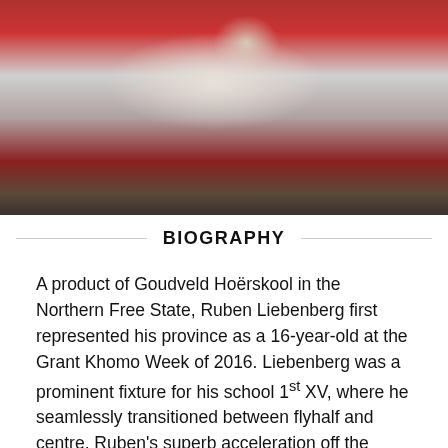[Figure (photo): Action photo of rugby players in red jerseys competing during a match, one player appears to be tackling or falling over another, set in a stadium environment.]
BIOGRAPHY
A product of Goudveld Hoërskool in the Northern Free State, Ruben Liebenberg first represented his province as a 16-year-old at the Grant Khomo Week of 2016. Liebenberg was a prominent fixture for his school 1st XV, where he seamlessly transitioned between flyhalf and centre. Ruben's superb acceleration off the mark came to the fore in the Sevens format, but it was at the U18 Craven Week of 2018 that he rose to national prominence. Aside from his cool goalkicking under pressure, Liebenberg earned a reputation for intelligent lateral running lines that proved a nightmare for